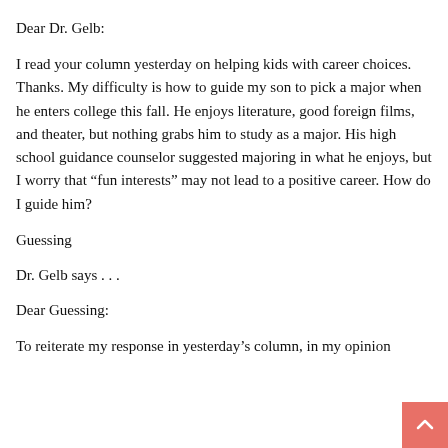Dear Dr. Gelb:
I read your column yesterday on helping kids with career choices. Thanks. My difficulty is how to guide my son to pick a major when he enters college this fall. He enjoys literature, good foreign films, and theater, but nothing grabs him to study as a major. His high school guidance counselor suggested majoring in what he enjoys, but I worry that “fun interests” may not lead to a positive career. How do I guide him?
Guessing
Dr. Gelb says . . .
Dear Guessing:
To reiterate my response in yesterday’s column, in my opinion